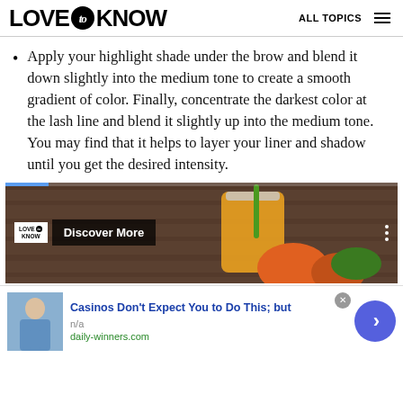LOVE to KNOW   ALL TOPICS
Apply your highlight shade under the brow and blend it down slightly into the medium tone to create a smooth gradient of color. Finally, concentrate the darkest color at the lash line and blend it slightly up into the medium tone. You may find that it helps to layer your liner and shadow until you get the desired intensity.
[Figure (photo): Video thumbnail showing juice drink in a mason jar with a green straw, alongside fruit, with a 'Discover More' overlay and LoveToKnow logo]
[Figure (photo): Advertisement banner showing a person in a blue shirt with text 'Casinos Don't Expect You to Do This; but', source n/a, daily-winners.com]